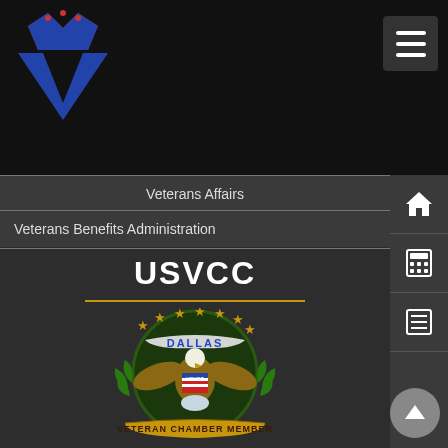[Figure (logo): V.H.V2020 logo with stylized V and crown in blue and red on black background]
V.H.V2020
Veterans Affairs
Veterans Benefits Administration
USVCC
[Figure (logo): USVCC Dallas Veteran Chamber Member seal with bald eagle, US flag shield, stars, laurel wreath on dark circular background with gold banner reading VETERAN CHAMBER MEMBER]